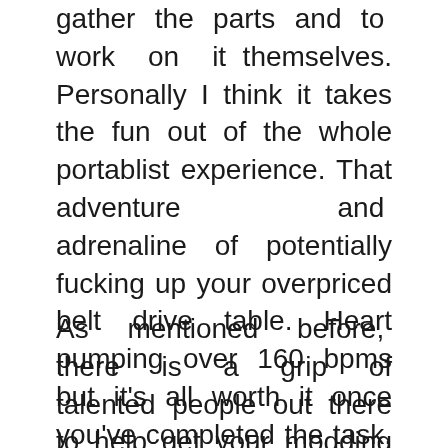gather the parts and to work on it themselves. Personally I think it takes the fun out of the whole portablist experience. That adventure and adrenaline of potentially fucking up your overpriced belt drive table. Heart pumping over 160 bpms but it's all worth it once you've completed the task. It could be one of those father and son weekend projects that lasts for years or could just pick up a dinner in a box and start cutting up fresh right away. All depending what you're going after.
As mentioned before, there is a grip of talented people out there to help get your modding fix. Flesh One, Open Format LA, Jesse Dean Designs, DJ Focus, Shottadubz